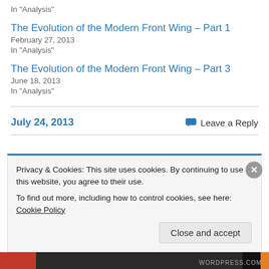In "Analysis"
The Evolution of the Modern Front Wing – Part 1
February 27, 2013
In "Analysis"
The Evolution of the Modern Front Wing – Part 3
June 18, 2013
In "Analysis"
July 24, 2013
Leave a Reply
Privacy & Cookies: This site uses cookies. By continuing to use this website, you agree to their use. To find out more, including how to control cookies, see here: Cookie Policy
Close and accept